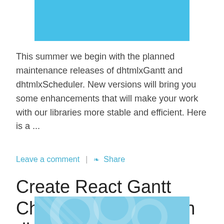[Figure (illustration): Light blue/cyan rectangular banner image at the top center of the page]
This summer we begin with the planned maintenance releases of dhtmlxGantt and dhtmlxScheduler. New versions will bring you some enhancements that will make your work with our libraries more stable and efficient. Here is a ...
Leave a comment | Share
Create React Gantt Chart Component with dhtmlxGantt
by Maria (DHTMLX team) | May 24, 2017 | 11 minutes
[Figure (illustration): Light blue decorative banner image with circular/wave pattern at the bottom center of the page]